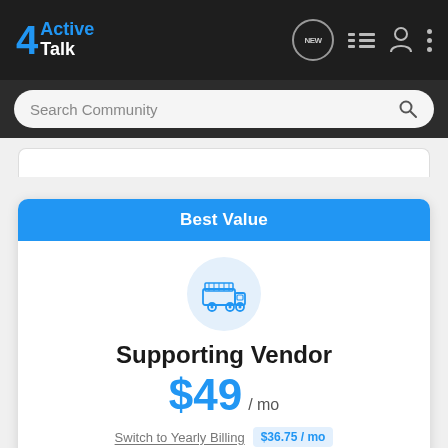[Figure (screenshot): 4ActiveTalk navigation bar with logo, NEW chat badge, list icon, person icon, and three-dot menu]
Search Community
[Figure (illustration): Vendor/food-truck icon inside a light blue circle]
Supporting Vendor
$49 / mo
Switch to Yearly Billing  $36.75 / mo
Best Value